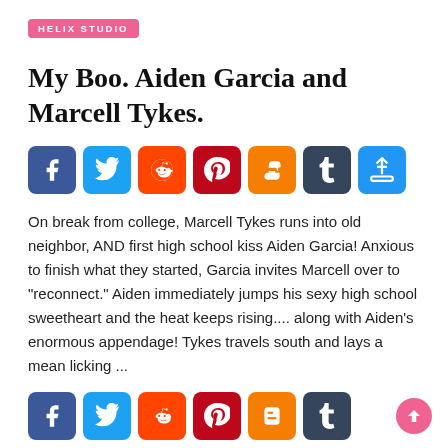HELIX STUDIO
My Boo. Aiden Garcia and Marcell Tykes.
[Figure (infographic): Social sharing buttons row: Facebook, Twitter, Reddit, Pinterest, Blogger, Tumblr, Share/More]
On break from college, Marcell Tykes runs into old neighbor, AND first high school kiss Aiden Garcia! Anxious to finish what they started, Garcia invites Marcell over to "reconnect." Aiden immediately jumps his sexy high school sweetheart and the heat keeps rising.... along with Aiden's enormous appendage! Tykes travels south and lays a mean licking ...
[Figure (infographic): Social sharing buttons row (partial, bottom): Facebook, Twitter, Reddit, Pinterest, Blogger, Tumblr]